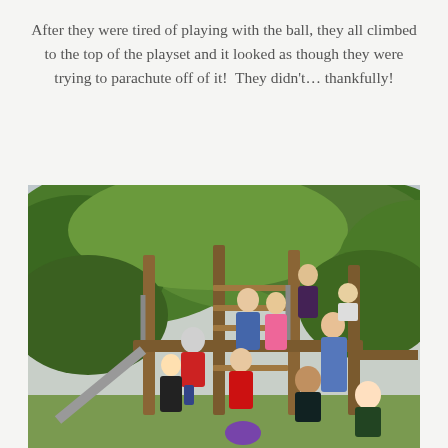After they were tired of playing with the ball, they all climbed to the top of the playset and it looked as though they were trying to parachute off of it!  They didn't... thankfully!
[Figure (photo): Children climbing on a wooden outdoor playset/jungle gym with a slide, surrounded by green trees. Multiple children of various ages are visible on the climbing structure.]